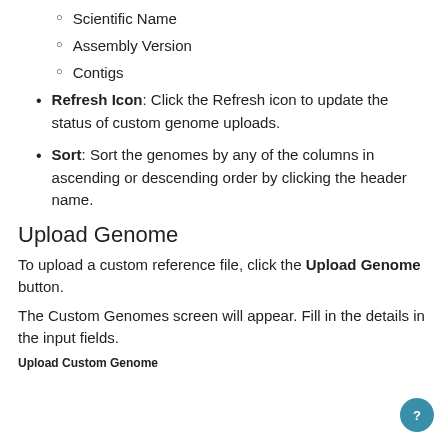Scientific Name
Assembly Version
Contigs
Refresh Icon: Click the Refresh icon to update the status of custom genome uploads.
Sort: Sort the genomes by any of the columns in ascending or descending order by clicking the header name.
Upload Genome
To upload a custom reference file, click the Upload Genome button.
The Custom Genomes screen will appear. Fill in the details in the input fields.
Upload Custom Genome